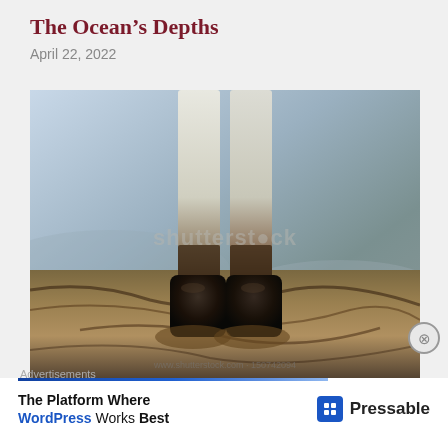The Ocean's Depths
April 22, 2022
[Figure (photo): Person standing in oil-covered water/mud, wearing white pants covered in brown/black oil residue and dark boots, viewed from below the waist looking down. Shutterstock watermark visible. URL: www.shutterstock.com · 150742094]
www.shutterstock.com · 150742094
Advertisements
The Platform Where WordPress Works Best  Pressable